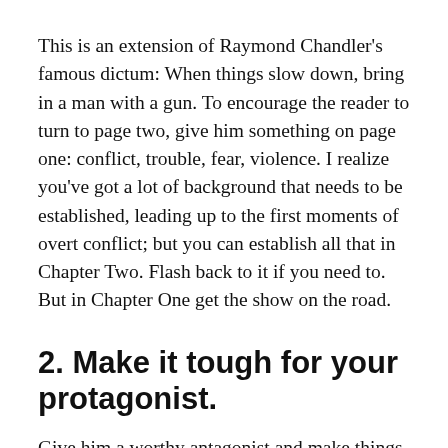This is an extension of Raymond Chandler's famous dictum: When things slow down, bring in a man with a gun. To encourage the reader to turn to page two, give him something on page one: conflict, trouble, fear, violence. I realize you've got a lot of background that needs to be established, leading up to the first moments of overt conflict; but you can establish all that in Chapter Two. Flash back to it if you need to. But in Chapter One get the show on the road.
2. Make it tough for your protagonist.
Give him a worthy antagonist and make things